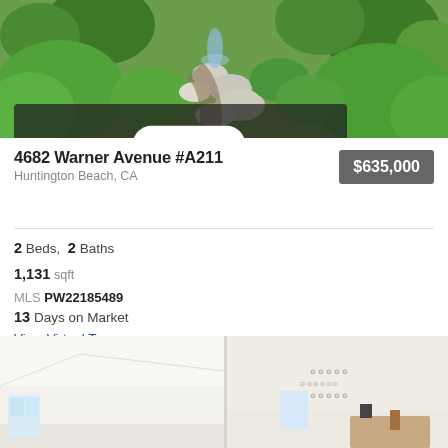[Figure (photo): Outdoor garden area with lush green shrubs, rocks, a stone pathway, and a fountain, with a photo count badge showing '60' and a camera icon]
4682 Warner Avenue #A211
Huntington Beach, CA
$635,000
2 Beds, 2 Baths
1,131 sqft
MLS PW22185489
13 Days on Market
View Virtual Tour
[Figure (photo): Interior photo showing a bright white living room area on the left and a dining/room area with a decorative clock wall display on the right]